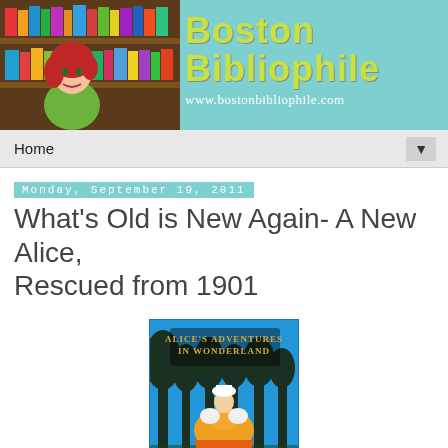[Figure (illustration): Boston Bibliophile blog banner with a cartoon illustration of a woman with red hair in front of colorful bookshelves on the left, and the blog title 'Boston Bibliophile' in yellow-green text and URL 'www.bostonbibliophile.com' on a teal background on the right.]
Home
Monday, September 19, 2011
What's Old is New Again- A New Alice, Rescued from 1901
[Figure (photo): Book cover of 'Alice's Adventures in Wonderland' by Lewis Carroll. Blue background with dark tree silhouettes and a colorful illustration of Alice in a flowing orange and yellow dress dancing or spinning.]